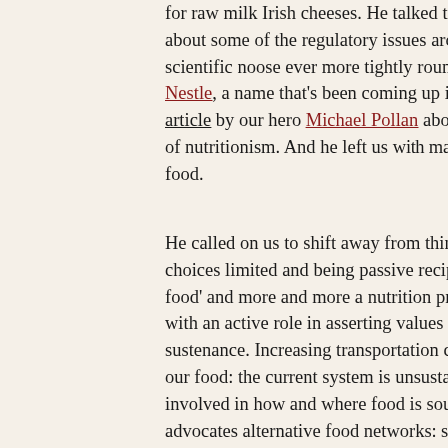for raw milk Irish cheeses. He talked to us about food geography, about some of the regulatory issues around raw milk cheeses, a scientific noose ever more tightly round the food we are all to Marion Nestle, a name that's been coming up in various mentioned a useful article by our hero Michael Pollan about evil that goes by the handle of nutritionism. And he left us with maybe it's time to grow our own food.
He called on us to shift away from thinking of ourselves as our choices limited and being passive recipients of what might be 'whole food' and more and more a nutrition product. We need to be food citizens with an active role in asserting values and creating our own sustenance. Increasing transportation costs mean that higher cost for our food: the current system is unsustainable. Be responsible and involved in how and where food is sourced. Grow own food if we can. He advocates alternative food networks and scale cooperatives for sharing food resources. Fair trade needs to go beyond chocolate or coffee, and develop in such areas as fruit that we can't easily grow in northern climates.